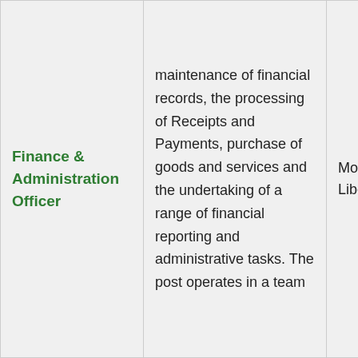| Position | Description | Location | Status |
| --- | --- | --- | --- |
| Finance & Administration Officer | maintenance of financial records, the processing of Receipts and Payments, purchase of goods and services and the undertaking of a range of financial reporting and administrative tasks. The post operates in a team | Monrovia, Liberia | Closed |